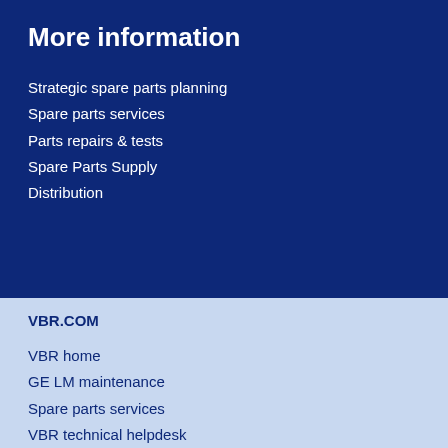More information
Strategic spare parts planning
Spare parts services
Parts repairs & tests
Spare Parts Supply
Distribution
VBR.COM
VBR home
GE LM maintenance
Spare parts services
VBR technical helpdesk